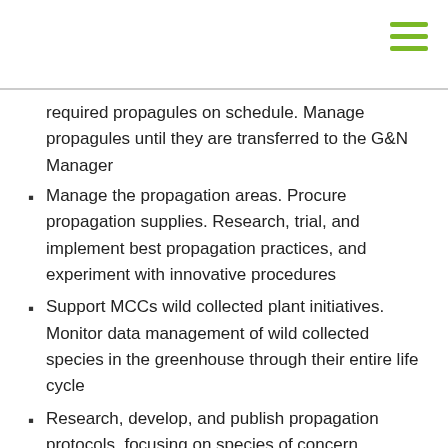required propagules on schedule. Manage propagules until they are transferred to the G&N Manager
Manage the propagation areas. Procure propagation supplies. Research, trial, and implement best propagation practices, and experiment with innovative procedures
Support MCCs wild collected plant initiatives. Monitor data management of wild collected species in the greenhouse through their entire life cycle
Research, develop, and publish propagation protocols, focusing on species of concern, species with industry interest, and potential plant introductions
Collaborate on plant conservation projects with